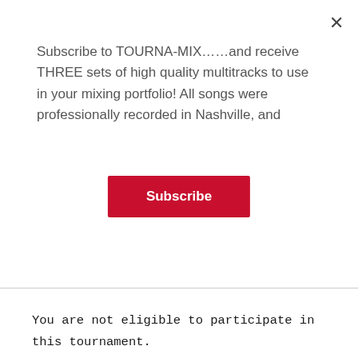×
Subscribe to TOURNA-MIX……and receive THREE sets of high quality multitracks to use in your mixing portfolio! All songs were professionally recorded in Nashville, and
Subscribe
You are not eligible to participate in this tournament.
Eric's Mix